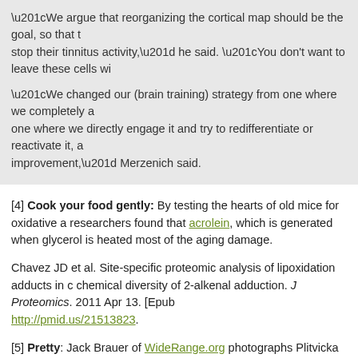“We argue that reorganizing the cortical map should be the goal, so that the brain cells stop their tinnitus activity,” he said. “You don’t want to leave these cells wi…” “We changed our (brain training) strategy from one where we completely a… one where we directly engage it and try to redifferentiate or reactivate it, a… improvement,” Merzenich said.
[4] Cook your food gently: By testing the hearts of old mice for oxidative a… researchers found that acrolein, which is generated when glycerol is heated… most of the aging damage.
Chavez JD et al. Site-specific proteomic analysis of lipoxidation adducts in c… chemical diversity of 2-alkenal adduction. J Proteomics. 2011 Apr 13. [Epub… http://pmid.us/21513823.
[5] Pretty: Jack Brauer of WideRange.org photographs Plitvicka Jezera Nat…
[Figure (photo): Aerial photograph of Plitvicka Jezera National Park showing green forested cliffs, turquoise lakes, and waterfalls]